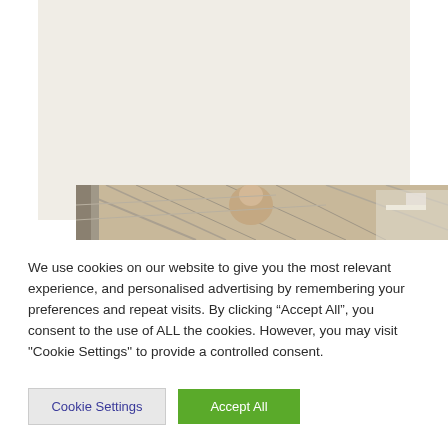[Figure (photo): Webpage screenshot showing a light beige/off-white area (top portion of a page) with a partial photo strip at the bottom showing what appears to be a person in an indoor space with a glass ceiling structure]
We use cookies on our website to give you the most relevant experience, and personalised advertising by remembering your preferences and repeat visits. By clicking “Accept All”, you consent to the use of ALL the cookies. However, you may visit "Cookie Settings" to provide a controlled consent.
Cookie Settings
Accept All